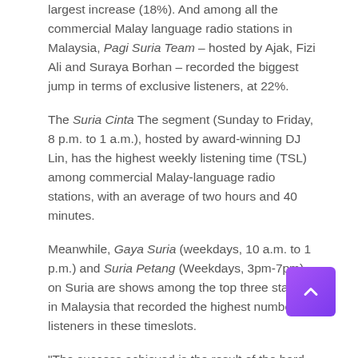largest increase (18%). And among all the commercial Malay language radio stations in Malaysia, Pagi Suria Team – hosted by Ajak, Fizi Ali and Suraya Borhan – recorded the biggest jump in terms of exclusive listeners, at 22%.
The Suria Cinta The segment (Sunday to Friday, 8 p.m. to 1 a.m.), hosted by award-winning DJ Lin, has the highest weekly listening time (TSL) among commercial Malay-language radio stations, with an average of two hours and 40 minutes.
Meanwhile, Gaya Suria (weekdays, 10 a.m. to 1 p.m.) and Suria Petang (Weekdays, 3pm-7pm) on Suria are shows among the top three stations in Malaysia that recorded the highest number of listeners in these timeslots.
"The success achieved is the result of the hard work of everyone at Suria FM. At Suria, we are committed to